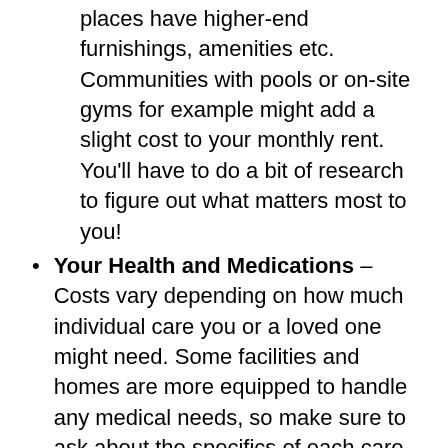places have higher-end furnishings, amenities etc. Communities with pools or on-site gyms for example might add a slight cost to your monthly rent. You'll have to do a bit of research to figure out what matters most to you!
Your Health and Medications – Costs vary depending on how much individual care you or a loved one might need. Some facilities and homes are more equipped to handle any medical needs, so make sure to ask about the specifics of each care operation when you speak with them.
Other Special Requests – If you have specific requests about what sort of living arrangements you prefer, or if